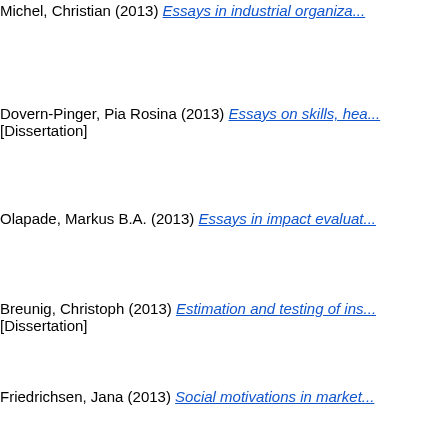Michel, Christian (2013) Essays in industrial organiza... [truncated at top]
Dovern-Pinger, Pia Rosina (2013) Essays on skills, hea... [Dissertation]
Olapade, Markus B.A. (2013) Essays in impact evaluat...
Breunig, Christoph (2013) Estimation and testing of ins... [Dissertation]
Friedrichsen, Jana (2013) Social motivations in market...
Yao, Yao (2013) Three essays on labor markets. [open access] Ma...
Drepper, Bettina (2013) The multivariate mixed proport... [Dissertation]